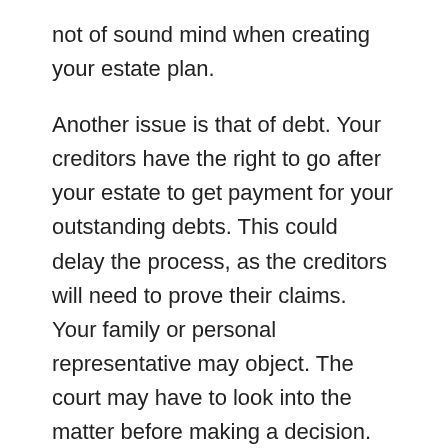not of sound mind when creating your estate plan.
Another issue is that of debt. Your creditors have the right to go after your estate to get payment for your outstanding debts. This could delay the process, as the creditors will need to prove their claims. Your family or personal representative may object. The court may have to look into the matter before making a decision.
Another issue that aligns somewhat with an heir challenging your estate is if you leave out a potential heir. For example, if you have no mention of your son but included your daughters, your son could say that it was an oversight and try to fight the validity of your documents.